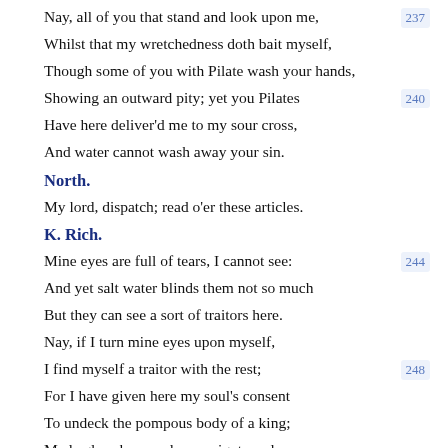Nay, all of you that stand and look upon me, 237
Whilst that my wretchedness doth bait myself,
Though some of you with Pilate wash your hands,
Showing an outward pity; yet you Pilates 240
Have here deliver'd me to my sour cross,
And water cannot wash away your sin.
North.
My lord, dispatch; read o'er these articles.
K. Rich.
Mine eyes are full of tears, I cannot see: 244
And yet salt water blinds them not so much
But they can see a sort of traitors here.
Nay, if I turn mine eyes upon myself,
I find myself a traitor with the rest; 248
For I have given here my soul's consent
To undeck the pompous body of a king;
Made glory base and sovereignty a slave,
Proud majesty a subject, state a peasant, 252